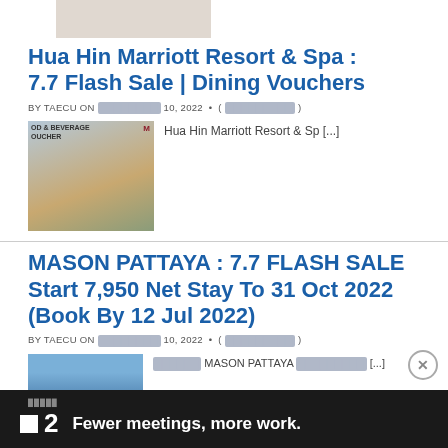[Figure (photo): Partial top image strip, cropped hotel/resort photo]
Hua Hin Marriott Resort & Spa : 7.7 Flash Sale | Dining Vouchers
BY TAECU ON [REDACTED] 10, 2022 • ( [REDACTED] )
[Figure (photo): Thumbnail of Marriott Food & Beverage Voucher showing people dining outdoors]
Hua Hin Marriott Resort & Sp [...]
MASON PATTAYA : 7.7 FLASH SALE Start 7,950 Net Stay To 31 Oct 2022 (Book By 12 Jul 2022)
BY TAECU ON [REDACTED] 10, 2022 • ( [REDACTED] )
[Figure (photo): Thumbnail of Mason Pattaya hotel exterior]
[REDACTED] MASON PATTAYA [REDACTED] [...]
[Figure (infographic): Advertisement banner: Fewer meetings, more work. with logo showing a square and number 2]